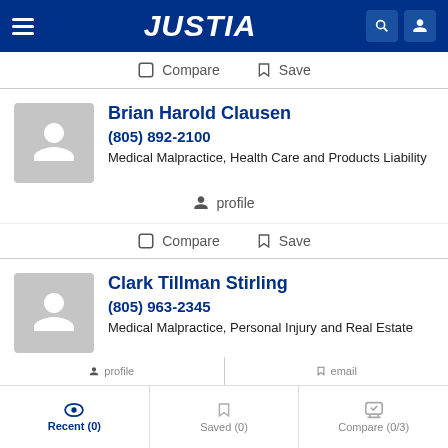JUSTIA
Compare  Save
Brian Harold Clausen
(805) 892-2100
Medical Malpractice, Health Care and Products Liability
profile
Compare  Save
Clark Tillman Stirling
(805) 963-2345
Medical Malpractice, Personal Injury and Real Estate
Recent (0)  Saved (0)  Compare (0/3)